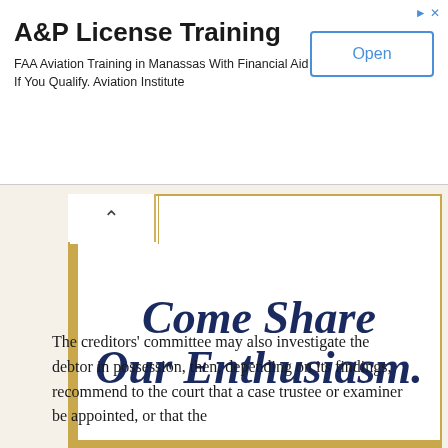[Figure (other): Advertisement banner for A&P License Training - FAA Aviation Training in Manassas With Financial Aid If You Qualify. Aviation Institute. With an 'Open' button.]
[Figure (other): Promotional banner reading 'Come Share Our Enthusiasm.' with a gold 'VISIT NOW!' call-to-action button.]
The creditors' committee may also investigate the debtor in possession, then, depending on its findings, recommend to the court that a case trustee or examiner be appointed, or that the